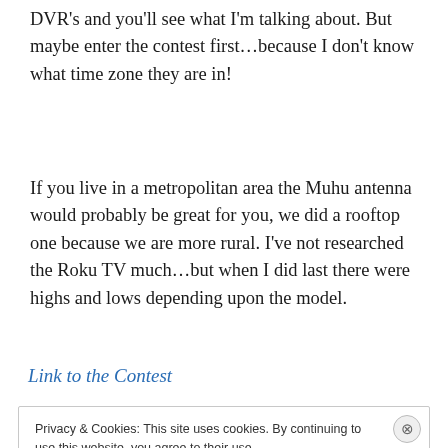DVR's and you'll see what I'm talking about. But maybe enter the contest first…because I don't know what time zone they are in!
If you live in a metropolitan area the Muhu antenna would probably be great for you, we did a rooftop one because we are more rural. I've not researched the Roku TV much…but when I did last there were highs and lows depending upon the model.
Link to the Contest
Privacy & Cookies: This site uses cookies. By continuing to use this website, you agree to their use.
To find out more, including how to control cookies, see here: Cookie Policy
Close and accept